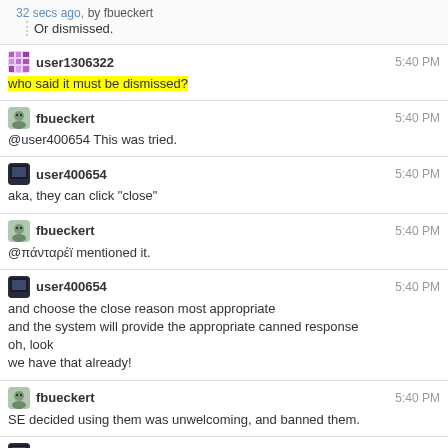32 secs ago, by fbueckert
Or dismissed.
user1306322  5:40 PM
who said it must be dismissed?
fbueckert  5:40 PM
@user400654 This was tried.
user400654  5:40 PM
aka, they can click "close"
fbueckert  5:40 PM
@πάνταρέϊ mentioned it.
user400654  5:40 PM
and choose the close reason most appropriate
and the system will provide the appropriate canned response
oh, look
we have that already!
fbueckert  5:40 PM
SE decided using them was unwelcoming, and banned them.
user400654  5:40 PM
can we move on?